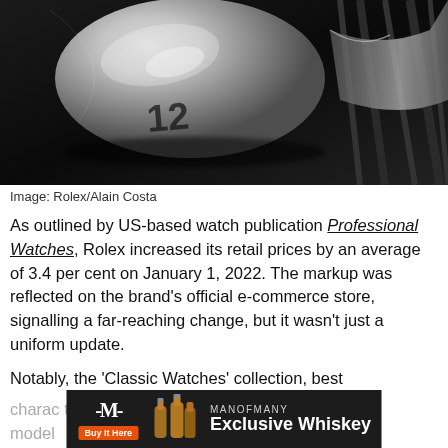[Figure (photo): Close-up macro photograph of a Rolex watch crystal and crown in black and white, showing the reflective sapphire crystal and metallic details with '12' numeral visible.]
Image: Rolex/Alain Costa
As outlined by US-based watch publication Professional Watches, Rolex increased its retail prices by an average of 3.4 per cent on January 1, 2022. The markup was reflected on the brand's official e-commerce store, signalling a far-reaching change, but it wasn't just a uniform update.
Notably, the 'Classic Watches' collection, best characterized by te models
[Figure (other): Advertisement banner for ManOfMany Exclusive Whiskey with logo, bottle image, and Buy It Here button on dark background.]